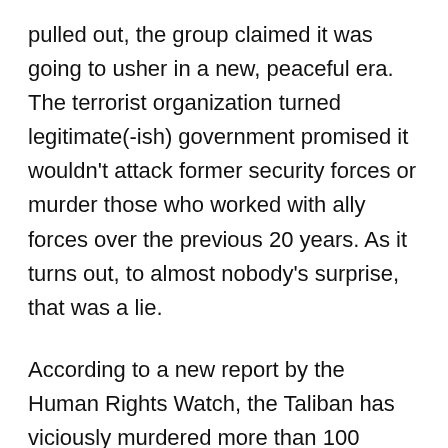pulled out, the group claimed it was going to usher in a new, peaceful era. The terrorist organization turned legitimate(-ish) government promised it wouldn't attack former security forces or murder those who worked with ally forces over the previous 20 years. As it turns out, to almost nobody's surprise, that was a lie.
According to a new report by the Human Rights Watch, the Taliban has viciously murdered more than 100 people since it took power. Many of the victims simply disappeared. At least 47 former members of the Afghan National Security Forces (ANSF) have gone missing or been